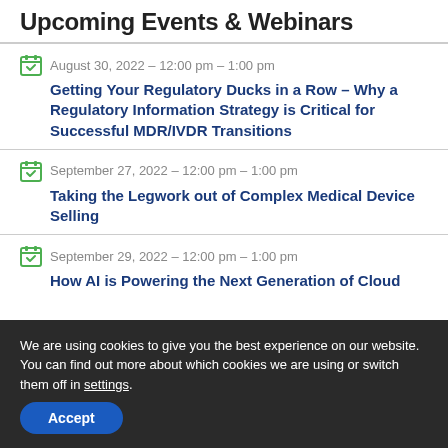Upcoming Events & Webinars
August 30, 2022 – 12:00 pm – 1:00 pm | Getting Your Regulatory Ducks in a Row – Why a Regulatory Information Strategy is Critical for Successful MDR/IVDR Transitions
September 27, 2022 – 12:00 pm – 1:00 pm | Taking the Legwork out of Complex Medical Device Selling
September 29, 2022 – 12:00 pm – 1:00 pm | How AI is Powering the Next Generation of Cloud
We are using cookies to give you the best experience on our website.
You can find out more about which cookies we are using or switch them off in settings.